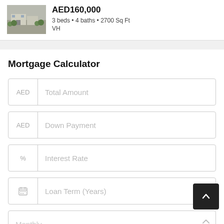[Figure (photo): Thumbnail photo of a property exterior with plants/greenery]
AED160,000
3 beds • 4 baths • 2700 Sq Ft
VH
Mortgage Calculator
AED  Total Amount
AED  Down Payment
%  Interest Rate
Loan Term (Years)
Monthly